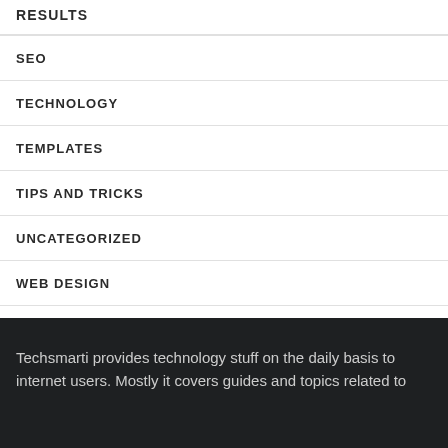RESULTS
SEO
TECHNOLOGY
TEMPLATES
TIPS AND TRICKS
UNCATEGORIZED
WEB DESIGN
WINDOWS
Techsmarti provides technology stuff on the daily basis to internet users. Mostly it covers guides and topics related to